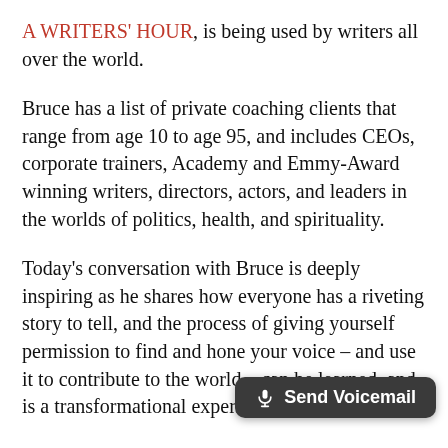A WRITERS' HOUR, is being used by writers all over the world.
Bruce has a list of private coaching clients that range from age 10 to age 95, and includes CEOs, corporate trainers, Academy and Emmy-Award winning writers, directors, actors, and leaders in the worlds of politics, health, and spirituality.
Today's conversation with Bruce is deeply inspiring as he shares how everyone has a riveting story to tell, and the process of giving yourself permission to find and hone your voice – and use it to contribute to the world – can be learned, and is a transformational experience when you do.
Enjoy this, and don't miss next week's Part 2
[Figure (other): Send Voicemail button with microphone icon, dark grey rounded rectangle]